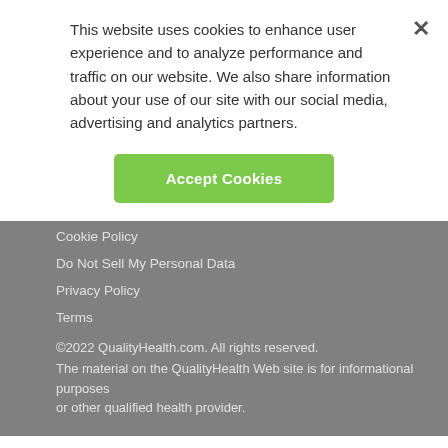This website uses cookies to enhance user experience and to analyze performance and traffic on our website. We also share information about your use of our site with our social media, advertising and analytics partners.
Accept Cookies
Contributors
Cookie Policy
Do Not Sell My Personal Data
Privacy Policy
Terms
©2022 QualityHealth.com. All rights reserved.
The material on the QualityHealth Web site is for informational purposes or other qualified health provider.